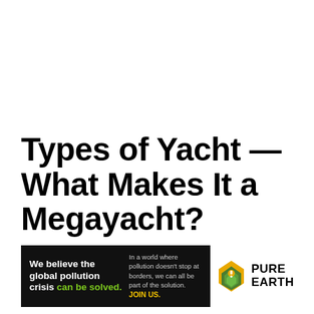Types of Yacht — What Makes It a Megayacht?
[Figure (infographic): Pure Earth advertisement banner. Black background on left with white bold text: 'We believe the global pollution crisis can be solved.' with 'can be solved.' in green. Right side of black area has smaller grey text: 'In a world where pollution doesn't stop at borders, we can all be part of the solution.' with 'JOIN US.' in yellow/gold bold. White section on right shows Pure Earth logo: diamond/shield icon with exclamation mark in yellow and green layered leaves motif, with 'PURE EARTH' text in bold black.]